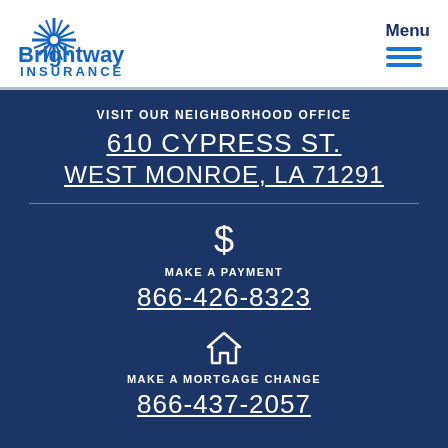[Figure (logo): Brightway Insurance logo with blue starburst and text]
Menu
VISIT OUR NEIGHBORHOOD OFFICE
610 CYPRESS ST.
WEST MONROE, LA 71291
[Figure (illustration): Dollar sign icon]
MAKE A PAYMENT
866-426-8323
[Figure (illustration): Home/house icon]
MAKE A MORTGAGE CHANGE
866-437-2057